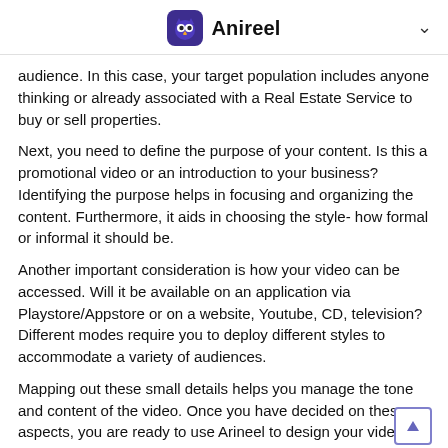Anireel
audience. In this case, your target population includes anyone thinking or already associated with a Real Estate Service to buy or sell properties.
Next, you need to define the purpose of your content. Is this a promotional video or an introduction to your business? Identifying the purpose helps in focusing and organizing the content. Furthermore, it aids in choosing the style- how formal or informal it should be.
Another important consideration is how your video can be accessed. Will it be available on an application via Playstore/Appstore or on a website, Youtube, CD, television? Different modes require you to deploy different styles to accommodate a variety of audiences.
Mapping out these small details helps you manage the tone and content of the video. Once you have decided on these aspects, you are ready to use Arineel to design your video.